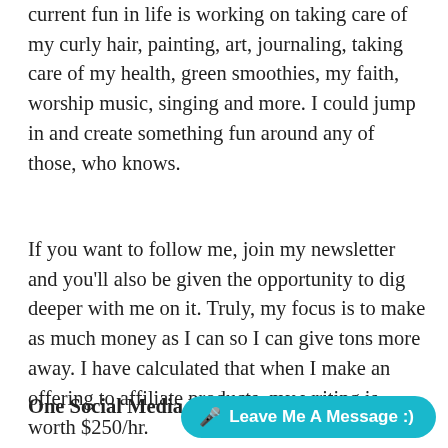current fun in life is working on taking care of my curly hair, painting, art, journaling, taking care of my health, green smoothies, my faith, worship music, singing and more. I could jump in and create something fun around any of those, who knows.
If you want to follow me, join my newsletter and you'll also be given the opportunity to dig deeper with me on it. Truly, my focus is to make as much money as I can so I can give tons more away. I have calculated that when I make an offering to affiliate products, my writing is worth $250/hr.
One Social Media Pla…
🎤 Leave Me A Message :)